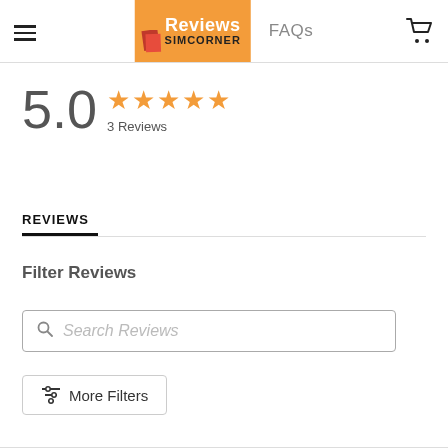Reviews | FAQs | SIMCORNER
5.0 ★★★★★ 3 Reviews
REVIEWS
Filter Reviews
Search Reviews
More Filters